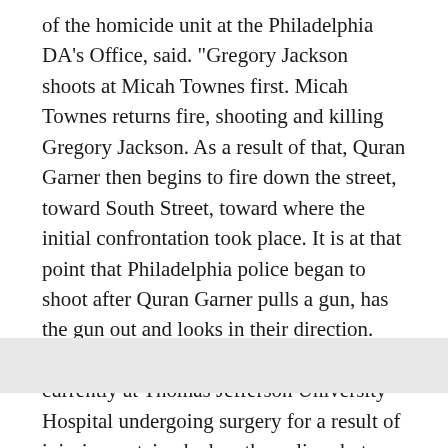of the homicide unit at the Philadelphia DA's Office, said. "Gregory Jackson shoots at Micah Townes first. Micah Townes returns fire, shooting and killing Gregory Jackson. As a result of that, Quran Garner then begins to fire down the street, toward South Street, toward where the initial confrontation took place. It is at that point that Philadelphia police began to shoot after Quran Garner pulls a gun, has the gun out and looks in their direction. They shoot at him, shooting his hand. He's currently at Thomas Jefferson University Hospital undergoing surgery for a result of injuries sustained when the police shot back at him."